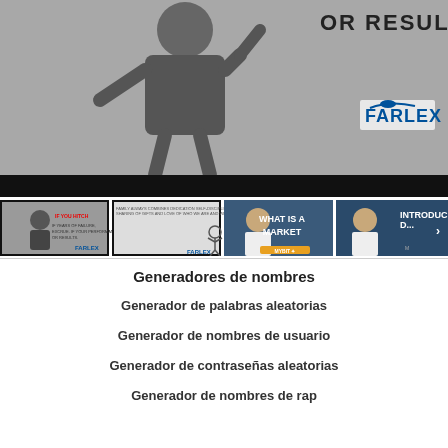[Figure (screenshot): Main video thumbnail showing a cartoon figure with text 'OR RESULTS.' and Farlex logo on gray background with black control bar below]
[Figure (screenshot): Row of four video thumbnails: (1) Farlex cartoon figure, (2) whiteboard animation, (3) 'WHAT IS A MARKET' with man in suit, (4) 'INTRODUC...' with man in suit]
Generadores de nombres
Generador de palabras aleatorias
Generador de nombres de usuario
Generador de contraseñas aleatorias
Generador de nombres de rap